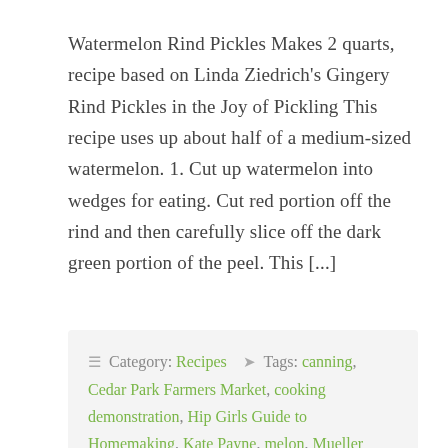Watermelon Rind Pickles Makes 2 quarts, recipe based on Linda Ziedrich's Gingery Rind Pickles in the Joy of Pickling This recipe uses up about half of a medium-sized watermelon. 1. Cut up watermelon into wedges for eating. Cut red portion off the rind and then carefully slice off the dark green portion of the peel. This [...]
≡ Category: Recipes  ☛ Tags: canning, Cedar Park Farmers Market, cooking demonstration, Hip Girls Guide to Homemaking, Kate Payne, melon, Mueller Farmers Market, pickles, pickling, preserving, summer recipes, watermelon